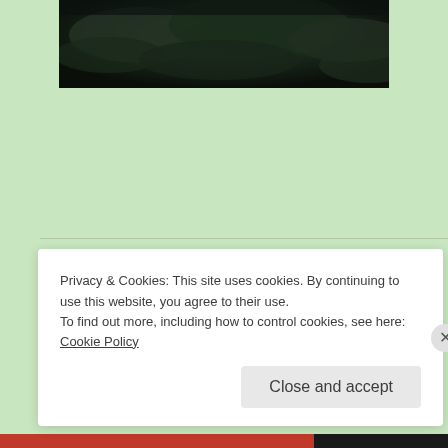[Figure (photo): Dark moody sky/clouds image at the top of the page]
Share this:
Email  Facebook
Loading...
Privacy & Cookies: This site uses cookies. By continuing to use this website, you agree to their use.
To find out more, including how to control cookies, see here: Cookie Policy
Close and accept